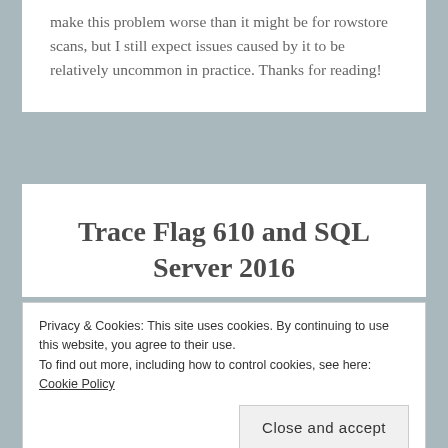make this problem worse than it might be for rowstore scans, but I still expect issues caused by it to be relatively uncommon in practice. Thanks for reading!
Trace Flag 610 and SQL Server 2016
Privacy & Cookies: This site uses cookies. By continuing to use this website, you agree to their use.
To find out more, including how to control cookies, see here: Cookie Policy
Close and accept
celebration but I was designing demos for a class. The